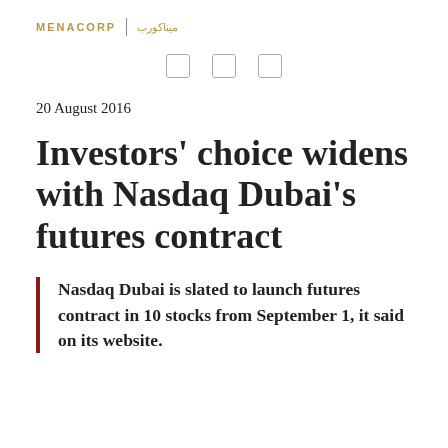MENACORP | ميناكورب
20 August 2016
Investors' choice widens with Nasdaq Dubai's futures contract
Nasdaq Dubai is slated to launch futures contract in 10 stocks from September 1, it said on its website.